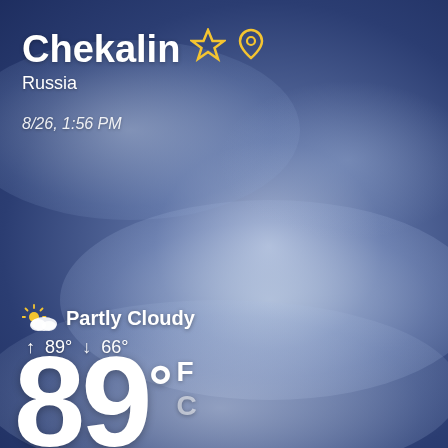Chekalin
Russia
8/26, 1:56 PM
Partly Cloudy
↑ 89° ↓ 66°
89° F